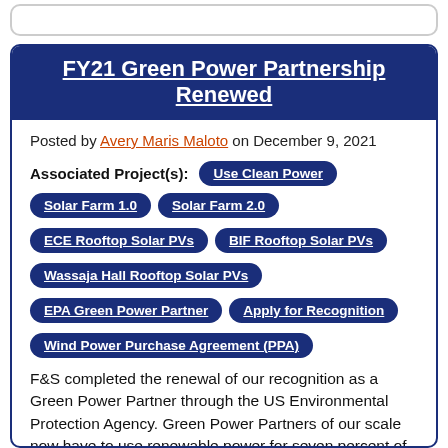FY21 Green Power Partnership Renewed
Posted by Avery Maris Maloto on December 9, 2021
Associated Project(s): Use Clean Power, Solar Farm 1.0, Solar Farm 2.0, ECE Rooftop Solar PVs, BIF Rooftop Solar PVs, Wassaja Hall Rooftop Solar PVs, EPA Green Power Partner, Apply for Recognition, Wind Power Purchase Agreement (PPA)
F&S completed the renewal of our recognition as a Green Power Partner through the US Environmental Protection Agency. Green Power Partners of our scale now have to use renewable power for seven percent of their annual consumption. Fortunately, the FY21 green power surpassed for FY21 over 8%, which is at 72%...